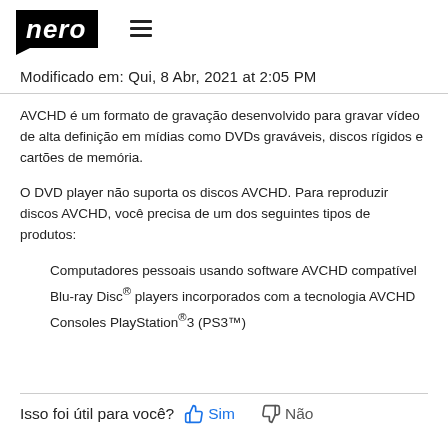nero [logo] ☰
Modificado em: Qui, 8 Abr, 2021 at 2:05 PM
AVCHD é um formato de gravação desenvolvido para gravar vídeo de alta definição em mídias como DVDs graváveis, discos rígidos e cartões de memória.
O DVD player não suporta os discos AVCHD. Para reproduzir discos AVCHD, você precisa de um dos seguintes tipos de produtos:
Computadores pessoais usando software AVCHD compatível
Blu-ray Disc® players incorporados com a tecnologia AVCHD
Consoles PlayStation®3 (PS3™)
Isso foi útil para você?  Sim   Não